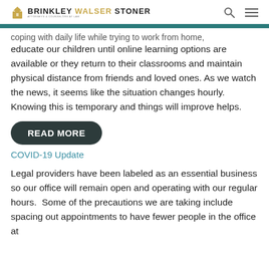BRINKLEY WALSER STONER — Attorneys & Counselors at Law
coping with daily life while trying to work from home, educate our children until online learning options are available or they return to their classrooms and maintain physical distance from friends and loved ones. As we watch the news, it seems like the situation changes hourly. Knowing this is temporary and things will improve helps.
READ MORE
COVID-19 Update
Legal providers have been labeled as an essential business so our office will remain open and operating with our regular hours.  Some of the precautions we are taking include spacing out appointments to have fewer people in the office at